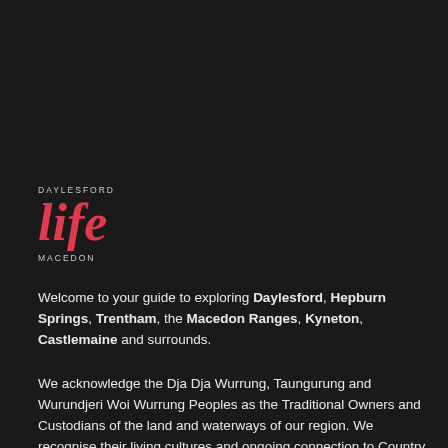[Figure (logo): Daylesford Life Macedon logo — 'DAYLESFORD' in small caps above, 'life' in large italic red script, 'MACEDON' in small caps below]
Welcome to your guide to exploring Daylesford, Hepburn Springs, Trentham, the Macedon Ranges, Kyneton, Castlemaine and surrounds.
We acknowledge the Dja Dja Wurrung, Taungurung and Wurundjeri Woi Wurrung Peoples as the Traditional Owners and Custodians of the land and waterways of our region. We recognise their living cultures and ongoing connection to Country and pay respect to